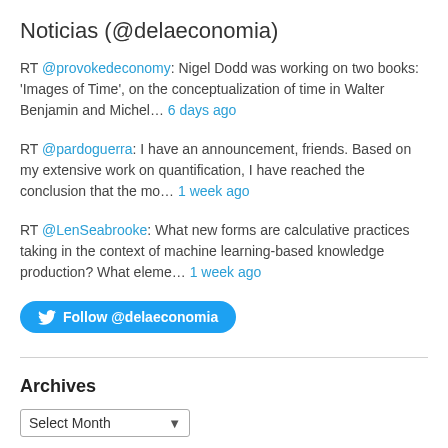Noticias (@delaeconomia)
RT @provokedeconomy: Nigel Dodd was working on two books: 'Images of Time', on the conceptualization of time in Walter Benjamin and Michel… 6 days ago
RT @pardoguerra: I have an announcement, friends. Based on my extensive work on quantification, I have reached the conclusion that the mo… 1 week ago
RT @LenSeabrooke: What new forms are calculative practices taking in the context of machine learning-based knowledge production? What eleme… 1 week ago
[Figure (other): Blue Twitter Follow button with bird icon: Follow @delaeconomia]
Archives
Select Month (dropdown)